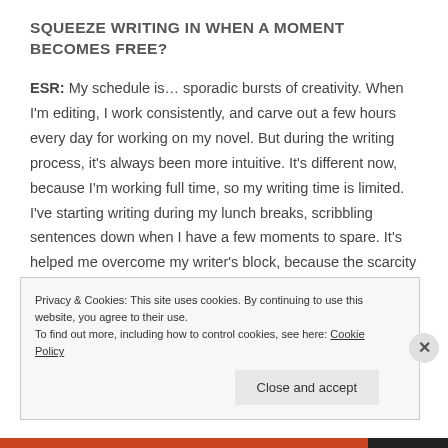SQUEEZE WRITING IN WHEN A MOMENT BECOMES FREE?
ESR: My schedule is… sporadic bursts of creativity. When I'm editing, I work consistently, and carve out a few hours every day for working on my novel. But during the writing process, it's always been more intuitive. It's different now, because I'm working full time, so my writing time is limited. I've starting writing during my lunch breaks, scribbling sentences down when I have a few moments to spare. It's helped me overcome my writer's block, because the scarcity of
Privacy & Cookies: This site uses cookies. By continuing to use this website, you agree to their use.
To find out more, including how to control cookies, see here: Cookie Policy
Close and accept